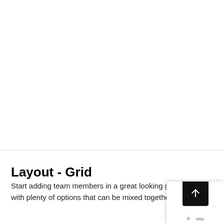Layout - Grid
Start adding team members in a great looking grid, with plenty of options that can be mixed together.